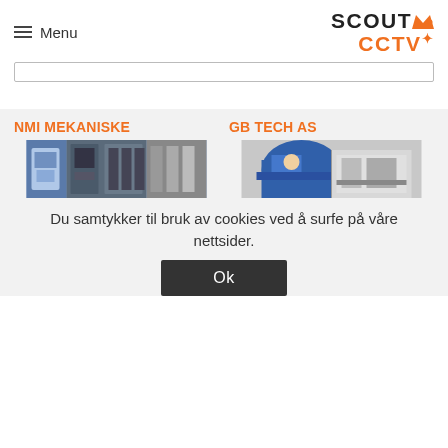Menu | SCOUT CCTV
[Figure (screenshot): Search bar / input field with border]
NMI MEKANISKE
[Figure (photo): Industrial machine / CNC equipment in a workshop]
GB TECH AS
[Figure (photo): Worker in blue shirt operating machinery at a workbench]
Du samtykker til bruk av cookies ved å surfe på våre nettsider.
Ok